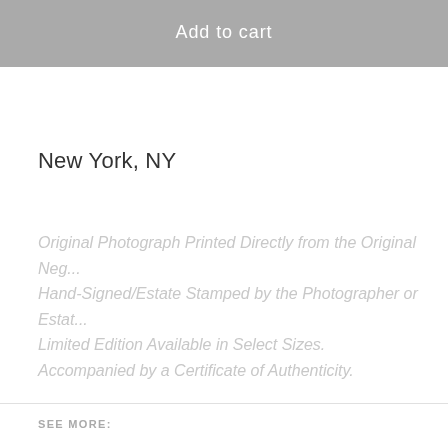Add to cart
New York, NY
Original Photograph Printed Directly from the Original Negative. Hand-Signed/Estate Stamped by the Photographer or Estate. Limited Edition Available in Select Sizes. Accompanied by a Certificate of Authenticity.
SEE MORE:
Folk
Pop
Rock
Elliott Smith
Danny Clinch
Folk Rock